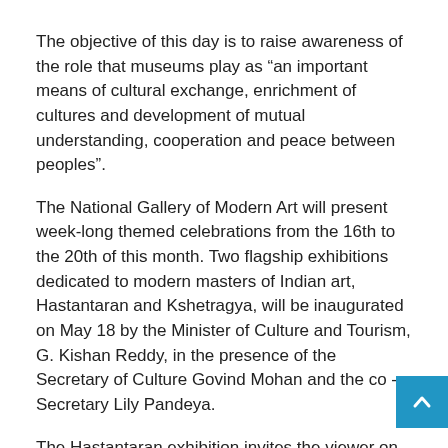The objective of this day is to raise awareness of the role that museums play as “an important means of cultural exchange, enrichment of cultures and development of mutual understanding, cooperation and peace between peoples”.
The National Gallery of Modern Art will present week-long themed celebrations from the 16th to the 20th of this month. Two flagship exhibitions dedicated to modern masters of Indian art, Hastantaran and Kshetragya, will be inaugurated on May 18 by the Minister of Culture and Tourism, G. Kishan Reddy, in the presence of the Secretary of Culture Govind Mohan and the co -Secretary Lily Pandeya.
The Hastantaran exhibition invites the viewer on the artistic and spiritual journey of Nandalal Bose (1882-1966) through different mediums, from murals to lithographs and panel paintings made for the Haripura session of Congress. Kshetragya celebrates the Navratnas of India’s National Art Treasures, with particular emphasis on artistic interventions by